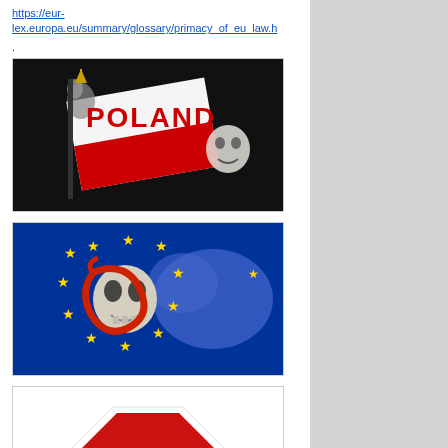https://eur-lex.europa.eu/summary/glossary/primacy_of_eu_law.h
.
[Figure (illustration): Dark image with text POLAND in red letters and Polish eagle emblem with red and white flag motif]
[Figure (illustration): EU flag with yellow stars on blue background featuring a skull with red serpent coiled around it, with blue European map silhouette]
[Figure (illustration): Stop sign (red octagon with white border) with text STOP The Nonsense on white background]